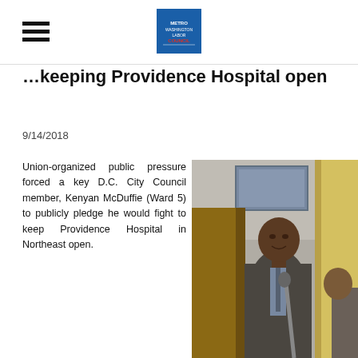DC Metropolitan Council (logo)
…keeping Providence Hospital open
9/14/2018
Union-organized public pressure forced a key D.C. City Council member, Kenyan McDuffie (Ward 5) to publicly pledge he would fight to keep Providence Hospital in Northeast open.
[Figure (photo): A man in a suit speaking at a microphone at a podium inside a church or community meeting hall.]